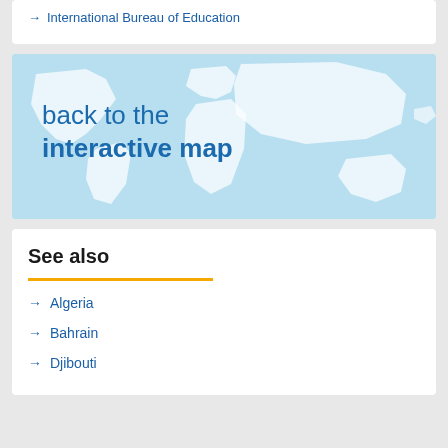→ International Bureau of Education
[Figure (map): World map banner with light blue background and white continent outlines, with text 'back to the interactive map' overlaid]
See also
→ Algeria
→ Bahrain
→ Djibouti